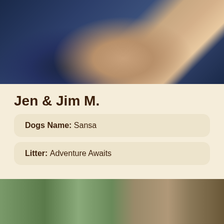[Figure (photo): Close-up photo of person wearing dark navy knitted sweater with crossed arms and visible hands]
Jen & Jim M.
Dogs Name: Sansa
Litter: Adventure Awaits
[Figure (photo): Outdoor photo showing green house siding, stone wall, and green bushes/trees with a light-colored dog visible at bottom]